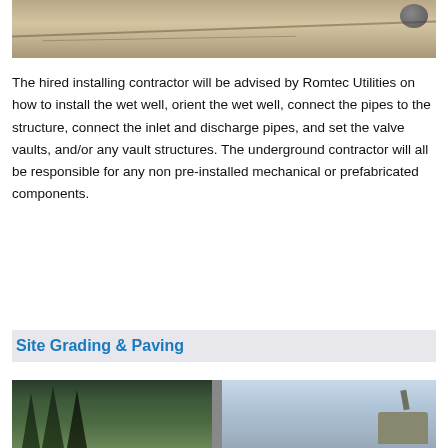[Figure (photo): Construction site photo showing sandy/gravelly ground with cables/pipes laid on the surface and rocks/boulders in background near a building structure.]
The hired installing contractor will be advised by Romtec Utilities on how to install the wet well, orient the wet well, connect the pipes to the structure, connect the inlet and discharge pipes, and set the valve vaults, and/or any vault structures. The underground contractor will all be responsible for any non pre-installed mechanical or prefabricated components.
Site Grading & Paving
[Figure (photo): Two side-by-side photos: left shows tall trees (forest), right shows heavy construction machinery/equipment on a job site.]